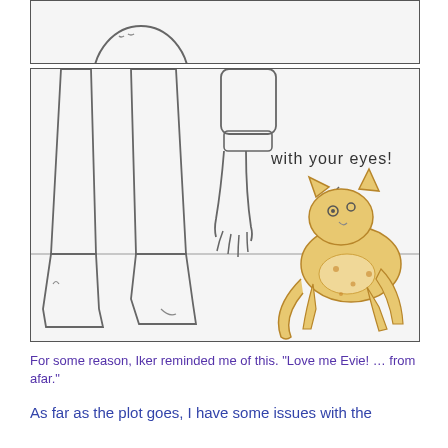[Figure (illustration): Top panel of a comic strip showing partial view of a round head/face drawn in simple line art style, cropped at top]
[Figure (illustration): Main comic panel showing person's legs and hand reaching down toward a yellow/tan cat sitting and looking up. Text 'with your eyes!' appears in the upper right of the panel. Simple line art for person, colored illustration for cat.]
For some reason, Iker reminded me of this.  "Love me Evie! … from afar."
As far as the plot goes, I have some issues with the